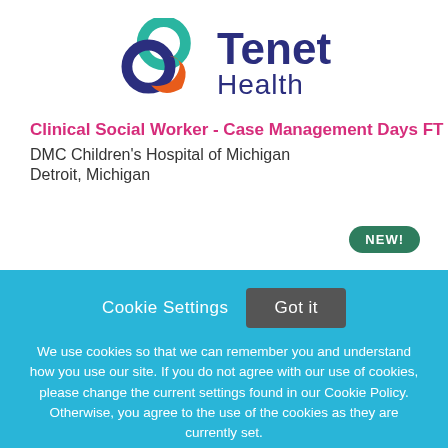[Figure (logo): Tenet Health logo with overlapping circles in teal, dark blue, and orange, and text 'Tenet Health']
Clinical Social Worker - Case Management Days FT
DMC Children's Hospital of Michigan
Detroit, Michigan
NEW!
Cookie Settings   Got it
We use cookies so that we can remember you and understand how you use our site. If you do not agree with our use of cookies, please change the current settings found in our Cookie Policy. Otherwise, you agree to the use of the cookies as they are currently set.